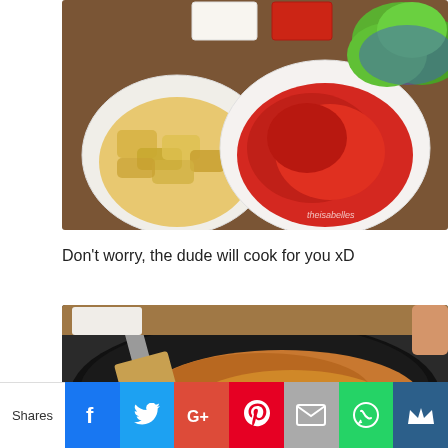[Figure (photo): Korean side dishes on a wooden table: a bowl of pickled radish in brown broth, a bowl of kimchi (red fermented vegetables), fresh green lettuce on a blue plate, small bowls of condiments/sauces at the top. Watermark reads 'theisabelles'.]
Don't worry, the dude will cook for you xD
[Figure (photo): A black round pan/griddle with stir-fried meat and vegetables being cooked, with a spatula visible. Korean BBQ cooking scene.]
Shares | Facebook | Twitter | Google+ | Pinterest | Email | WhatsApp | Crown/Bookmark